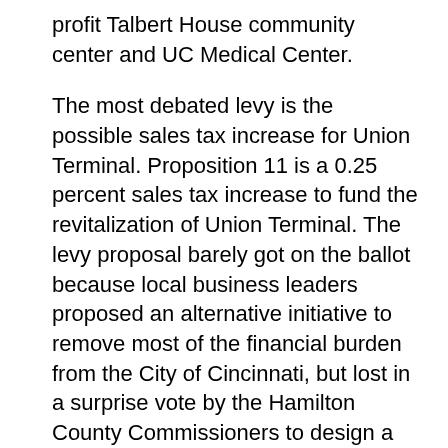profit Talbert House community center and UC Medical Center.
The most debated levy is the possible sales tax increase for Union Terminal. Proposition 11 is a 0.25 percent sales tax increase to fund the revitalization of Union Terminal. The levy proposal barely got on the ballot because local business leaders proposed an alternative initiative to remove most of the financial burden from the City of Cincinnati, but lost in a surprise vote by the Hamilton County Commissioners to design a smaller increase for the ballot.
If passed, the current proposal would generate funds for the $208 million needed to update Union Terminal. Opponents may argue against the levy as another unnecessary tax increase for Cincinnati voters, proponents argue the increase is a necessary step in